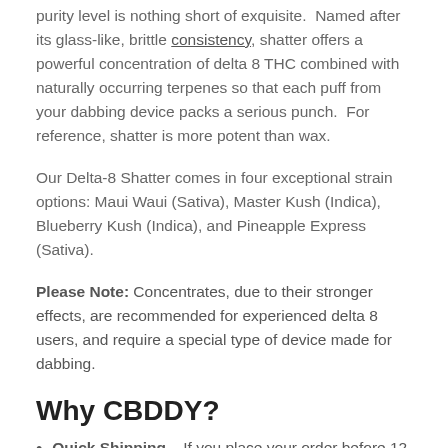purity level is nothing short of exquisite. Named after its glass-like, brittle consistency, shatter offers a powerful concentration of delta 8 THC combined with naturally occurring terpenes so that each puff from your dabbing device packs a serious punch. For reference, shatter is more potent than wax.
Our Delta-8 Shatter comes in four exceptional strain options: Maui Waui (Sativa), Master Kush (Indica), Blueberry Kush (Indica), and Pineapple Express (Sativa).
Please Note: Concentrates, due to their stronger effects, are recommended for experienced delta 8 users, and require a special type of device made for dabbing.
Why CBDDY?
Quick Shipping – If you place your order before 12